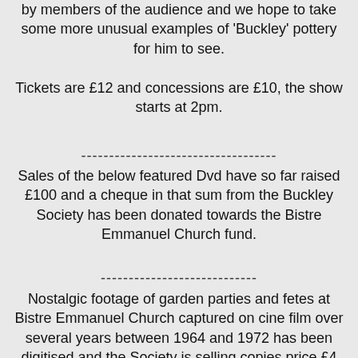by members of the audience and we hope to take some more unusual examples of 'Buckley' pottery for him to see.
Tickets are £12 and concessions are £10, the show starts at 2pm.
-----------------------------------
Sales of the below featured Dvd have so far raised £100 and a cheque in that sum from the Buckley Society has been donated towards the Bistre Emmanuel Church fund.
----------------------------
Nostalgic footage of garden parties and fetes at Bistre Emmanuel Church captured on cine film over several years between 1964 and 1972 has been digitised and the Society is selling copies price £4 each. Buckley Library and the News Centre are selling copies on our behalf. A donation from the sale of each copy will be